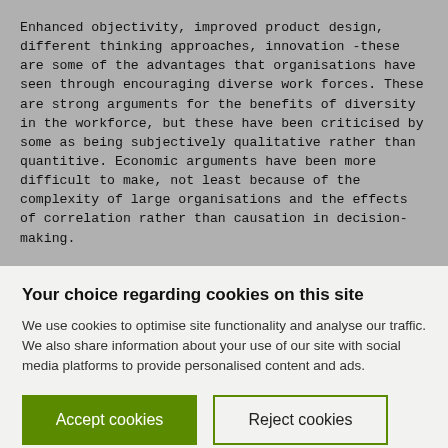Enhanced objectivity, improved product design, different thinking approaches, innovation -these are some of the advantages that organisations have seen through encouraging diverse work forces. These are strong arguments for the benefits of diversity in the workforce, but these have been criticised by some as being subjectively qualitative rather than quantitive. Economic arguments have been more difficult to make, not least because of the complexity of large organisations and the effects of correlation rather than causation in decision-making.
Your choice regarding cookies on this site
We use cookies to optimise site functionality and analyse our traffic. We also share information about your use of our site with social media platforms to provide personalised content and ads.
Accept cookies
Reject cookies
More options f…